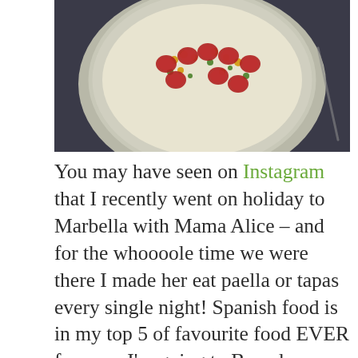[Figure (photo): Overhead view of a white bowl filled with rice, sliced red chorizo sausage, corn kernels, peas, and herbs — a paella-style dish — on a dark grey background]
You may have seen on Instagram that I recently went on holiday to Marbella with Mama Alice – and for the whoooole time we were there I made her eat paella or tapas every single night! Spanish food is in my top 5 of favourite food EVER for sure. I'm going to Barcelona really soon and have heard they do